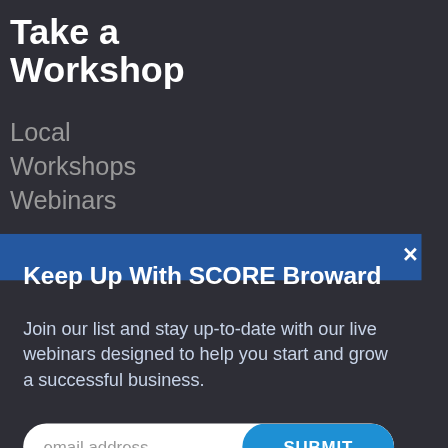Take a Workshop
Local
Workshops
Webinars
Keep Up With SCORE Broward
Join our list and stay up-to-date with our live webinars designed to help you start and grow a successful business.
email address
SUBMIT
Starting
a
Business